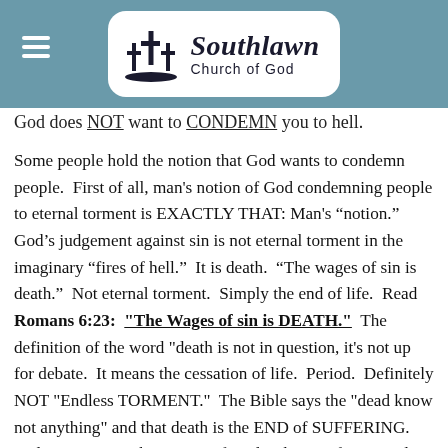[Figure (logo): Southlawn Church of God logo with three crosses on a hill, inside a rounded white rectangle, on a teal/steel blue header bar with hamburger menu icon on the left]
God does NOT want to CONDEMN you to hell.
Some people hold the notion that God wants to condemn people.  First of all, man's notion of God condemning people to eternal torment is EXACTLY THAT: Man's “notion.”  God’s judgement against sin is not eternal torment in the imaginary “fires of hell.”  It is death.  “The wages of sin is death.”  Not eternal torment.  Simply the end of life.  Read Romans 6:23:  “The Wages of sin is DEATH.”  The definition of the word “death is not in question, it's not up for debate.  It means the cessation of life.  Period.  Definitely NOT “Endless TORMENT.”  The Bible says the “dead know not anything” and that death is the END of SUFFERING.  So let’s just wipe this notion of God right out of our minds!!!